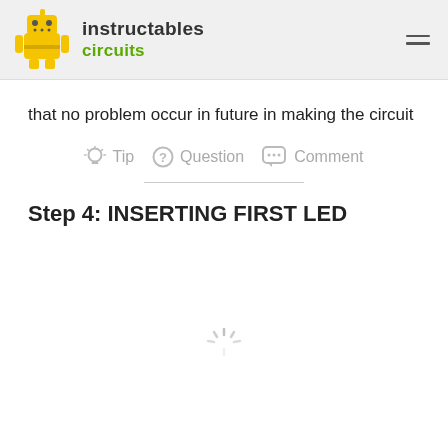instructables circuits
that no problem occur in future in making the circuit
Tip  Question  Comment
Step 4: INSERTING FIRST LED
[Figure (other): Loading spinner icon at bottom of page]